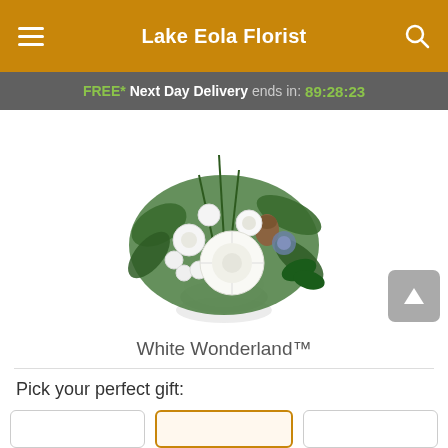Lake Eola Florist
FREE* Next Day Delivery ends in: 89:28:23
[Figure (photo): A floral arrangement called White Wonderland featuring white chrysanthemums, white carnations, green foliage, pine cones, and blue thistle in a round glass vase.]
White Wonderland™
Pick your perfect gift:
Option cards row (three gift option cards, middle one selected)